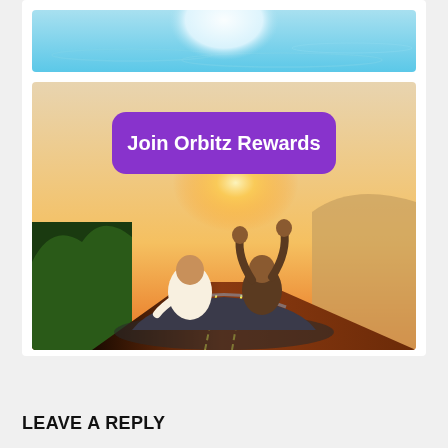[Figure (photo): Top portion of a card showing a blue water/pool background with a white circular element, partially cropped]
[Figure (photo): Orbitz Rewards advertisement image: two people in a convertible car driving on a road at sunset, arms raised. Purple rounded rectangle button overlay reads 'Join Orbitz Rewards' in white bold text.]
LEAVE A REPLY